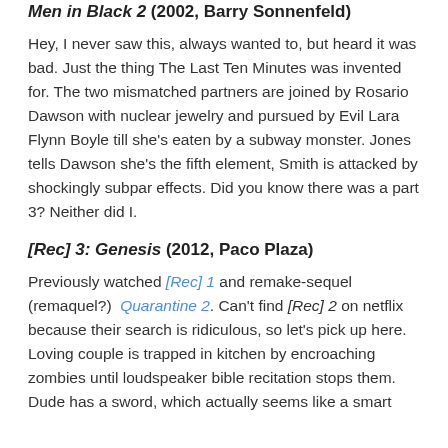Men in Black 2 (2002, Barry Sonnenfeld)
Hey, I never saw this, always wanted to, but heard it was bad. Just the thing The Last Ten Minutes was invented for. The two mismatched partners are joined by Rosario Dawson with nuclear jewelry and pursued by Evil Lara Flynn Boyle till she's eaten by a subway monster. Jones tells Dawson she's the fifth element, Smith is attacked by shockingly subpar effects. Did you know there was a part 3? Neither did I.
[Rec] 3: Genesis (2012, Paco Plaza)
Previously watched [Rec] 1 and remake-sequel (remaquel?) Quarantine 2. Can't find [Rec] 2 on netflix because their search is ridiculous, so let's pick up here. Loving couple is trapped in kitchen by encroaching zombies until loudspeaker bible recitation stops them. Dude has a sword, which actually seems like a smart